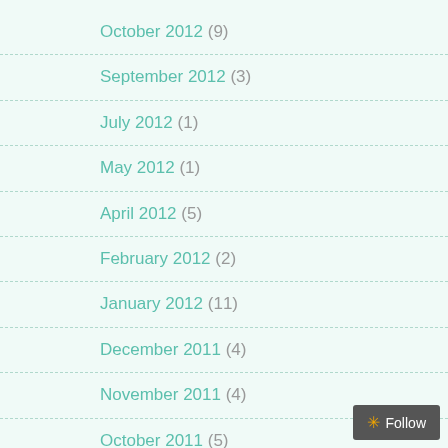October 2012 (9)
September 2012 (3)
July 2012 (1)
May 2012 (1)
April 2012 (5)
February 2012 (2)
January 2012 (11)
December 2011 (4)
November 2011 (4)
October 2011 (5)
September 2011 (2)
July 2011 (5)